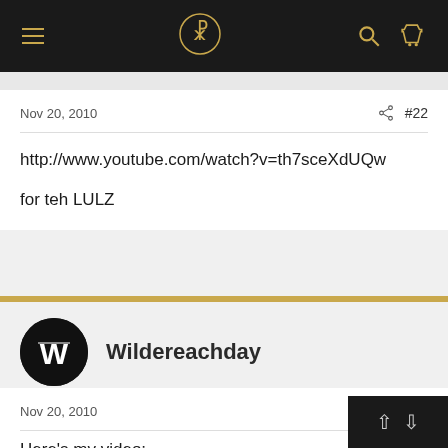Navigation bar with menu, logo, search, and cart icons
Nov 20, 2010  #22
http://www.youtube.com/watch?v=th7sceXdUQw

for teh LULZ
Wildereachday
Nov 20, 2010  #23
Here's my video: